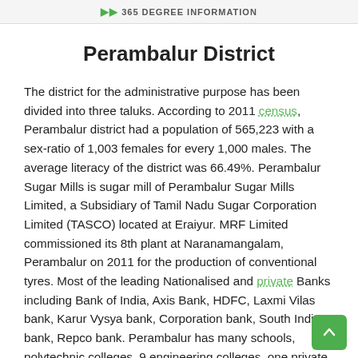365 DEGREE INFORMATION
Perambalur District
The district for the administrative purpose has been divided into three taluks. According to 2011 census, Perambalur district had a population of 565,223 with a sex-ratio of 1,003 females for every 1,000 males. The average literacy of the district was 66.49%. Perambalur Sugar Mills is sugar mill of Perambalur Sugar Mills Limited, a Subsidiary of Tamil Nadu Sugar Corporation Limited (TASCO) located at Eraiyur. MRF Limited commissioned its 8th plant at Naranamangalam, Perambalur on 2011 for the production of conventional tyres. Most of the leading Nationalised and private Banks including Bank of India, Axis Bank, HDFC, Laxmi Vilas bank, Karur Vysya bank, Corporation bank, South Indian bank, Repco bank. Perambalur has many schools, polytechnic colleges, 9 engineering colleges, one private medical college with multi-